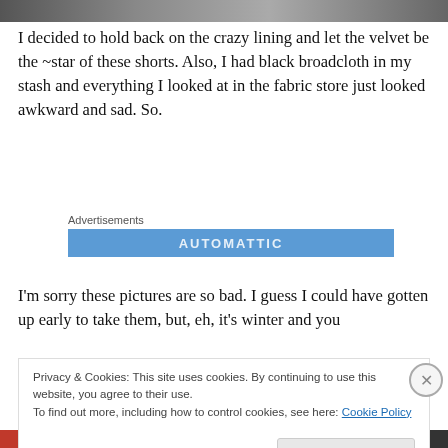[Figure (photo): Partial image strip at top of page, dark/colored image cropped]
I decided to hold back on the crazy lining and let the velvet be the ~star of these shorts. Also, I had black broadcloth in my stash and everything I looked at in the fabric store just looked awkward and sad. So.
[Figure (other): Advertisements bar: blue banner with AUTOMATTIC text]
I'm sorry these pictures are so bad. I guess I could have gotten up early to take them, but, eh, it's winter and you
Privacy & Cookies: This site uses cookies. By continuing to use this website, you agree to their use.
To find out more, including how to control cookies, see here: Cookie Policy
Close and accept